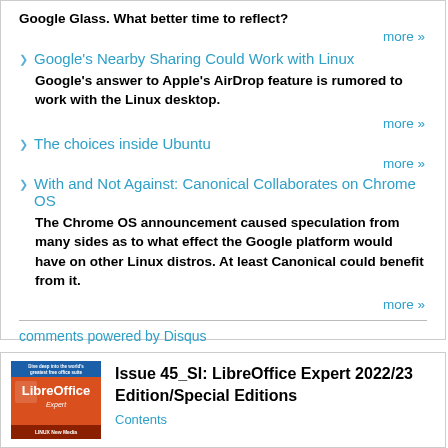Google Glass. What better time to reflect?
more »
Google's Nearby Sharing Could Work with Linux
Google's answer to Apple's AirDrop feature is rumored to work with the Linux desktop.
more »
The choices inside Ubuntu
more »
With and Not Against: Canonical Collaborates on Chrome OS
The Chrome OS announcement caused speculation from many sides as to what effect the Google platform would have on other Linux distros. At least Canonical could benefit from it.
more »
comments powered by Disqus
Issue 45_SI: LibreOffice Expert 2022/23 Edition/Special Editions
Contents